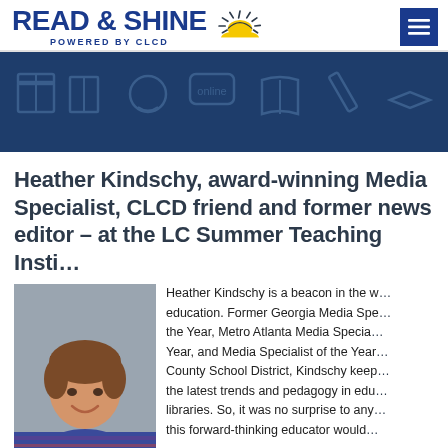READ & SHINE POWERED BY CLCD
[Figure (photo): Hero banner with dark blue background and faint education/reading icons]
Heather Kindschy, award-winning Media Specialist, CLCD friend and former news editor – at the LC Summer Teaching Institute
[Figure (photo): Headshot photo of Heather Kindschy, a woman with short brown hair, smiling, wearing a striped top, against a grey background]
Heather Kindschy is a beacon in the world of education. Former Georgia Media Specialist of the Year, Metro Atlanta Media Specialist of the Year, and Media Specialist of the Year for her County School District, Kindschy keeps up with the latest trends and pedagogy in educational libraries. So, it was no surprise to anyone that this forward-thinking educator would